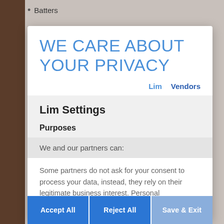Batters
WE CARE ABOUT YOUR PRIVACY
Lim   Vendors
Lim Settings
Purposes
We and our partners can:
Some partners do not ask for your consent to process your data, instead, they rely on their legitimate business interest. Personal
Manage Settings   Vendors
Accept All   Reject All   Save & Exit